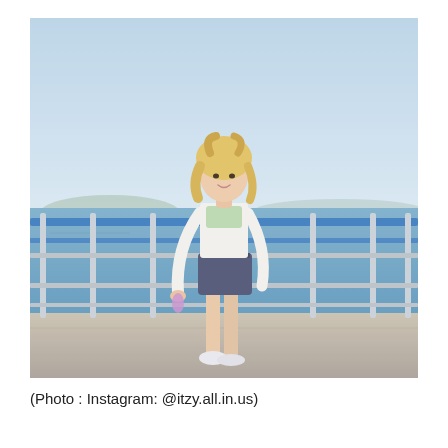[Figure (photo): A young woman with blonde hair stands on a bridge walkway near a railing. She is wearing a white long-sleeve crop top with a light green bralette, dark denim mini shorts, and white sneakers. She holds a small purple item in her left hand. The background shows a blue sky, calm blue water, distant mountains and buildings, and a blue metal railing running along the bridge.]
(Photo : Instagram: @itzy.all.in.us)